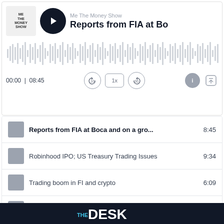[Figure (screenshot): Podcast player UI showing 'Me The Money Show' with episode 'Reports from FIA at Boca and on a gro...' at 00:00 / 08:45, with waveform visualization and playback controls (rewind 10s, 1x speed, forward 30s, info, share)]
Reports from FIA at Boca and on a gro... 8:45
Robinhood IPO; US Treasury Trading Issues 9:34
Trading boom in FI and crypto 6:09
Crypto & Custody 14:21
Cryptic problems for US regulators 7:06
[Figure (logo): THE DESK logo in white text on black background at bottom of page]